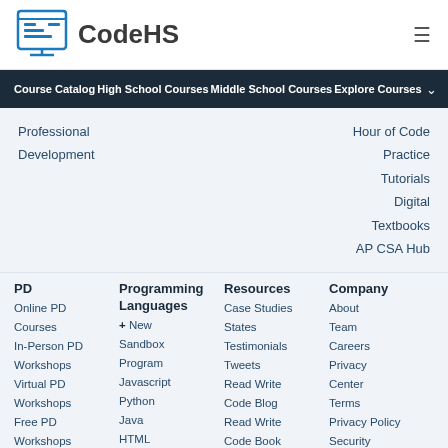CodeHS
Course Catalog High School Courses Middle School Courses Explore Courses
Professional
Development
Hour of Code
Practice
Tutorials
Digital
Textbooks
AP CSA Hub
PD
Online PD
Courses
In-Person PD
Workshops
Virtual PD
Workshops
Free PD
Workshops
Teacher
Programming Languages
+ New
Sandbox
Program
Javascript
Python
Java
HTML
C++
Resources
Case Studies
States
Testimonials
Tweets
Read Write
Code Blog
Read Write
Code Book
Knowledge
Company
About
Team
Careers
Privacy
Center
Terms
Privacy Policy
Security
Accessibility